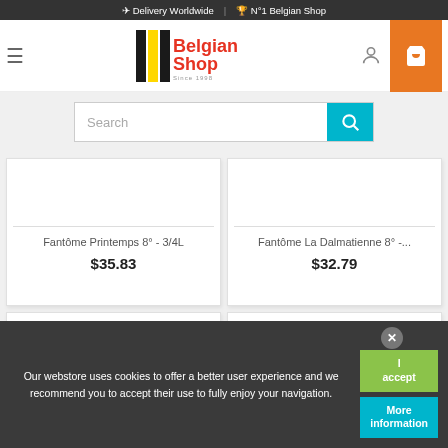✈ Delivery Worldwide | 🏆 N°1 Belgian Shop
[Figure (logo): Belgian Shop logo with vertical black and yellow stripes and red text, Since 1998]
Search
[Figure (photo): Product image area for Fantôme Printemps 8° - 3/4L]
Fantôme Printemps 8° - 3/4L
$35.83
[Figure (photo): Product image area for Fantôme La Dalmatienne 8° -...]
Fantôme La Dalmatienne 8° -...
$32.79
[Figure (photo): Product image area for second row, left card]
[Figure (photo): Product image area for second row, right card]
Our webstore uses cookies to offer a better user experience and we recommend you to accept their use to fully enjoy your navigation.